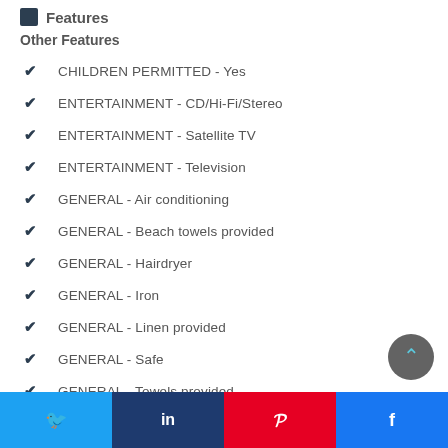Features
Other Features
CHILDREN PERMITTED - Yes
ENTERTAINMENT - CD/Hi-Fi/Stereo
ENTERTAINMENT - Satellite TV
ENTERTAINMENT - Television
GENERAL - Air conditioning
GENERAL - Beach towels provided
GENERAL - Hairdryer
GENERAL - Iron
GENERAL - Linen provided
GENERAL - Safe
GENERAL - Towels provided